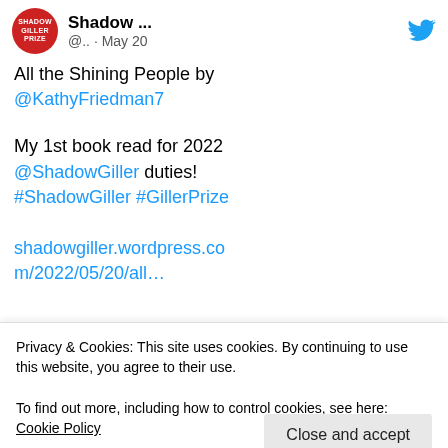[Figure (screenshot): Tweet from Shadow Giller Prize account. Red circular avatar with 'SHADOW GILLER PRIZE' text, display name 'Shadow ...' with Twitter bird icon, handle '@.. · May 20'. Tweet text: 'All the Shining People by @KathyFriedman7

My 1st book read for 2022 @ShadowGiller duties!
#ShadowGiller #GillerPrize'. Link: shadowgiller.wordpress.com/2022/05/20/all… Book cover image showing 'Shining' text over feather/nature background.]
Privacy & Cookies: This site uses cookies. By continuing to use this website, you agree to their use.
To find out more, including how to control cookies, see here: Cookie Policy
Close and accept
Kathy Friedman